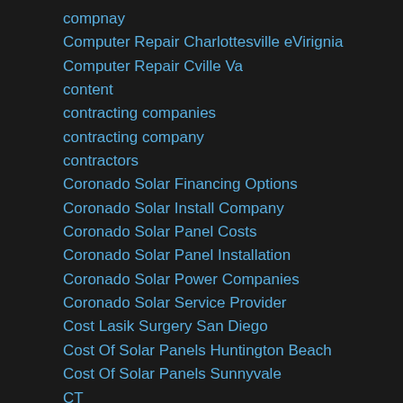compnay
Computer Repair Charlottesville eVirignia
Computer Repair Cville Va
content
contracting companies
contracting company
contractors
Coronado Solar Financing Options
Coronado Solar Install Company
Coronado Solar Panel Costs
Coronado Solar Panel Installation
Coronado Solar Power Companies
Coronado Solar Service Provider
Cost Lasik Surgery San Diego
Cost Of Solar Panels Huntington Beach
Cost Of Solar Panels Sunnyvale
CT